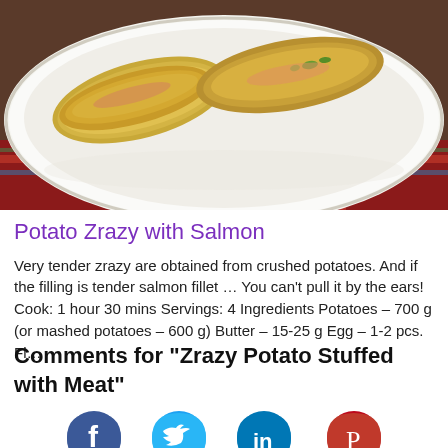[Figure (photo): Photo of potato zrazy with salmon on a white plate with a colorful tablecloth background]
Potato Zrazy with Salmon
Very tender zrazy are obtained from crushed potatoes. And if the filling is tender salmon fillet … You can't pull it by the ears! Cook: 1 hour 30 mins Servings: 4 Ingredients Potatoes – 700 g (or mashed potatoes – 600 g) Butter – 15-25 g Egg – 1-2 pcs. Fl…
Comments for "Zrazy Potato Stuffed with Meat"
[Figure (illustration): Social media icons: Facebook (blue), Twitter (cyan), LinkedIn (blue), Pinterest (red)]